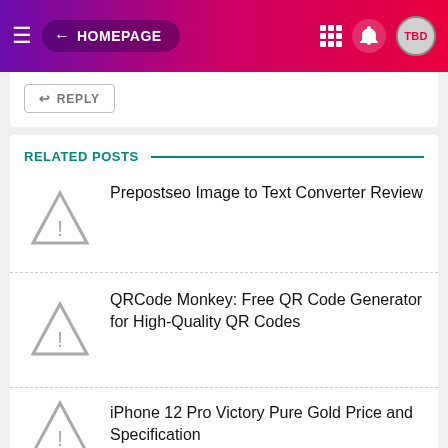← HOMEPAGE
REPLY
RELATED POSTS
Prepostseo Image to Text Converter Review
QRCode Monkey: Free QR Code Generator for High-Quality QR Codes
iPhone 12 Pro Victory Pure Gold Price and Specification